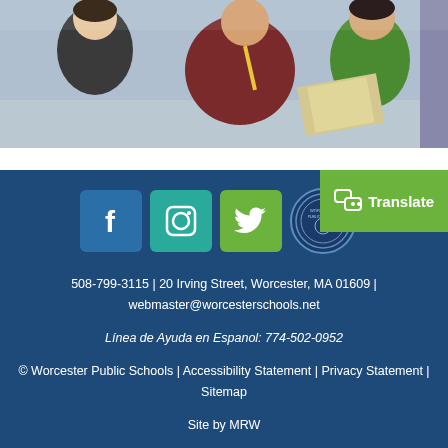[Figure (photo): Classroom photo showing children and a teacher looking at a book or paper together. Two boys are visible in the foreground, one in a black t-shirt and one in a green shirt, with an adult instructor.]
508-799-3115 | 20 Irving Street, Worcester, MA 01609 | webmaster@worcesterschools.net
Línea de Ayuda en Espanol: 774-502-0952
© Worcester Public Schools | Accessibility Statement | Privacy Statement | Sitemap
Site by MRW